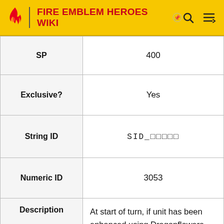FIRE EMBLEM HEROES WIKI
| Field | Value |
| --- | --- |
| SP | 400 |
| Exclusive? | Yes |
| String ID | SID_□□□□□ |
| Numeric ID | 3053 |
| Description | At start of turn, if unit has been enhanced using Dragonflowers ten or more times, grants Atk/Def+6 for 1 turn. If foe initiates combat or if foe's HP ≥ 75% at start of combat, grants bonus to Atk/Spd/Def/Res during combat based on the number of times unit has been enhanced using Dragonflowers (one or more times grants +5, max; zero times grants +4), and also, if unit has been enhanced using Dragonflowers five or more |